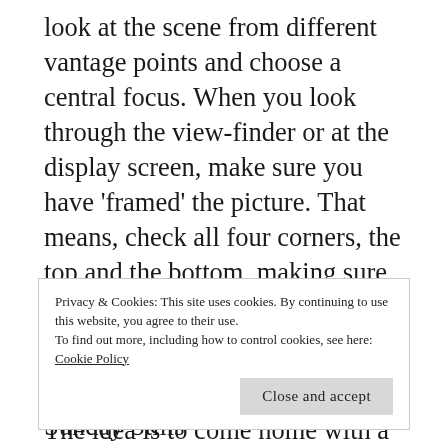look at the scene from different vantage points and choose a central focus. When you look through the view-finder or at the display screen, make sure you have 'framed' the picture. That means, check all four corners, the top and the bottom, making sure your have included, or more importantly, excluded anything detrimental to the photo.
The idea is to come home with a few well-composed photographs, not thousands of vacation snapshots that will bore even you. If a shot looks too busy, zoom in on something interesting within
Privacy & Cookies: This site uses cookies. By continuing to use this website, you agree to their use.
To find out more, including how to control cookies, see here: Cookie Policy
Anyone may participate in Terri's Sunday Stills